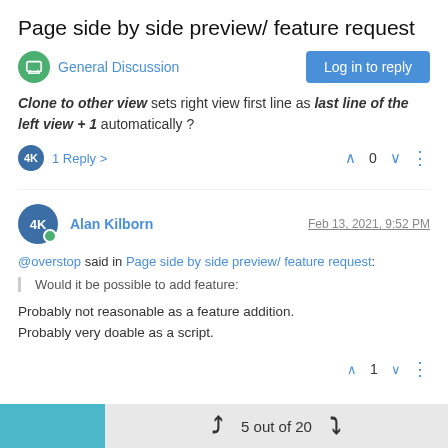Page side by side preview/ feature request
General Discussion
Log in to reply
Clone to other view sets right view first line as last line of the left view + 1 automatically ?
1 Reply >   ^ 0 v  ⋮
Alan Kilborn   Feb 13, 2021, 9:52 PM
@overstop said in Page side by side preview/ feature request:
Would it be possible to add feature:
Probably not reasonable as a feature addition.
Probably very doable as a script.
^ 1 v  ⋮
5 out of 20